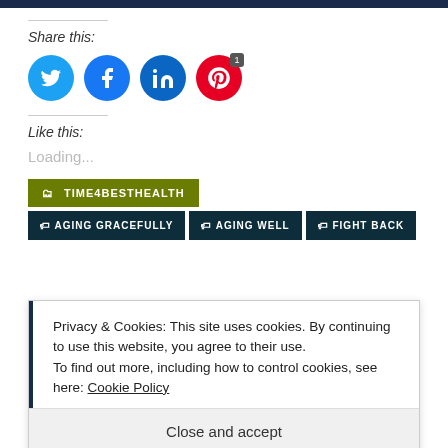Share this:
[Figure (infographic): Social media share buttons: Twitter (blue circle), Facebook (blue circle), LinkedIn (teal circle), Pinterest (red circle with badge '1')]
Like this:
Loading...
TIME4BESTHEALTH
AGING GRACEFULLY   AGING WELL   FIGHT BACK
Privacy & Cookies: This site uses cookies. By continuing to use this website, you agree to their use. To find out more, including how to control cookies, see here: Cookie Policy
Close and accept